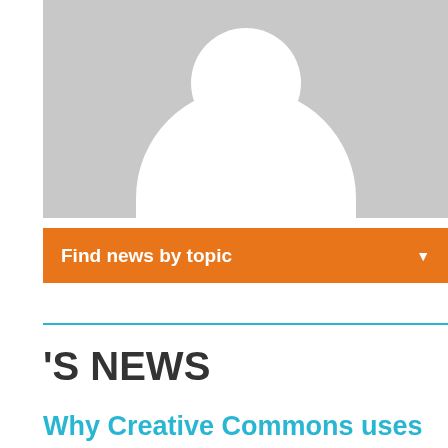[Figure (illustration): Generic avatar placeholder image with grey background, white circular head and white rounded body silhouette]
Find news by topic ▼
'S NEWS
Why Creative Commons uses CC0